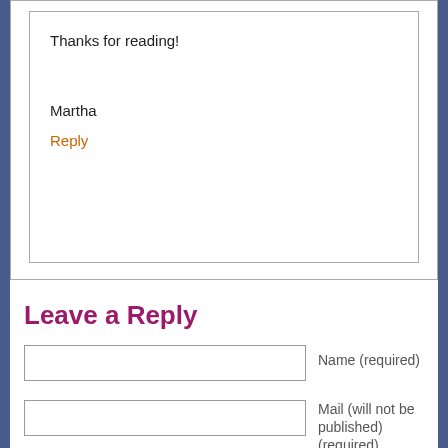Thanks for reading!
Martha
Reply
Leave a Reply
Name (required)
Mail (will not be published) (required)
Website